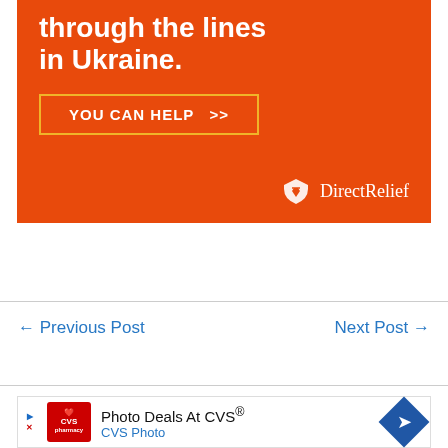[Figure (other): Direct Relief orange advertisement banner. Text reads 'through the lines in Ukraine.' with a yellow-bordered button 'YOU CAN HELP >>' and the Direct Relief logo at bottom right.]
← Previous Post
Next Post →
[Figure (other): CVS Pharmacy advertisement: 'Photo Deals At CVS® CVS Photo' with CVS logo on the left and a blue diamond direction icon on the right.]